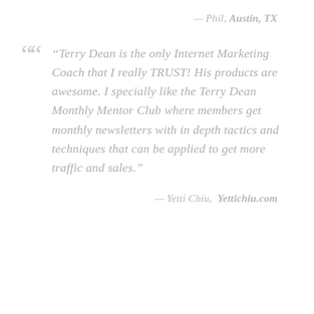— Phil, Austin, TX
“Terry Dean is the only Internet Marketing Coach that I really TRUST! His products are awesome. I specially like the Terry Dean Monthly Mentor Club where members get monthly newsletters with in depth tactics and techniques that can be applied to get more traffic and sales.”
— Yetti Chiu,  Yettichiu.com